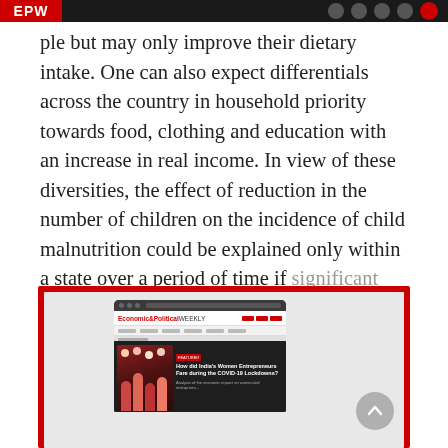EPW
ple but may only improve their dietary intake. One can also expect differentials across the country in household priority towards food, clothing and education with an increase in real income. In view of these diversities, the effect of reduction in the number of children on the incidence of child malnutrition could be explained only within a state over a period of time if significant reduction in the family size has taken place.
[Figure (screenshot): Screenshot of the Economic & Political Weekly website displayed on a laptop screen, showing the EPW logo header, navigation bar, and a featured article with an image of people and text asking 'How did India's Women Entrepreneurs Fare during the COVID-19 Lockdowns?']